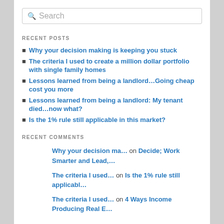[Figure (other): Search input box with magnifying glass icon and placeholder text 'Search']
RECENT POSTS
Why your decision making is keeping you stuck
The criteria I used to create a million dollar portfolio with single family homes
Lessons learned from being a landlord…Going cheap cost you more
Lessons learned from being a landlord: My tenant died…now what?
Is the 1% rule still applicable in this market?
RECENT COMMENTS
Why your decision ma… on Decide; Work Smarter and Lead,…
The criteria I used… on Is the 1% rule still applicabl…
The criteria I used… on 4 Ways Income Producing Real E…